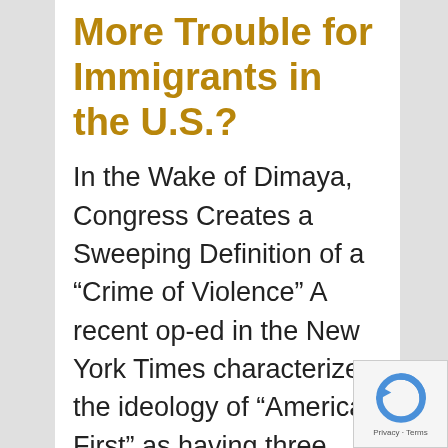More Trouble for Immigrants in the U.S.?
In the Wake of Dimaya, Congress Creates a Sweeping Definition of a “Crime of Violence” A recent op-ed in the New York Times characterizes the ideology of “America First” as having three pillars – isolationism, protectionism, and restricting immigration. The third pillar is on full display
[Figure (other): reCAPTCHA widget with circular arrow icon, showing Privacy and Terms text]